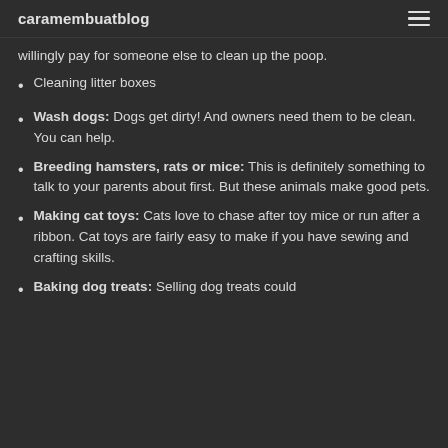caramembuatblog
willingly pay for someone else to clean up the poop.
Cleaning litter boxes
Wash dogs: Dogs get dirty! And owners need them to be clean. You can help.
Breeding hamsters, rats or mice: This is definitely something to talk to your parents about first. But these animals make good pets.
Making cat toys: Cats love to chase after toy mice or run after a ribbon. Cat toys are fairly easy to make if you have sewing and crafting skills.
Baking dog treats: Selling dog treats could